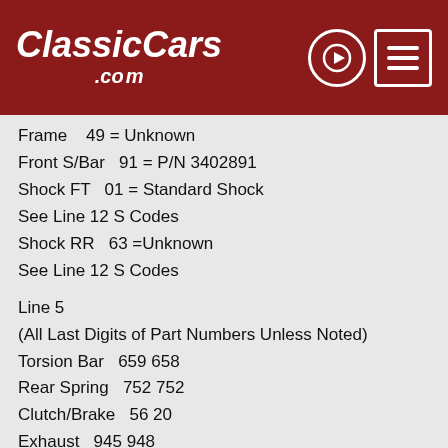ClassicCars.com
Frame    49 = Unknown
Front S/Bar    91 = P/N 3402891
Shock FT    01 = Standard Shock
See Line 12 S Codes
Shock RR    63 =Unknown
See Line 12 S Codes
Line 5
(All Last Digits of Part Numbers Unless Noted)
Torsion Bar    659 658
Rear Spring    752 752
Clutch/Brake    56 20
Exhaust    945 948
Tail Pipe    03 02
Car Height    BP1  (BP5 is standard height, below is low and above is high.)
Mar Col...45...